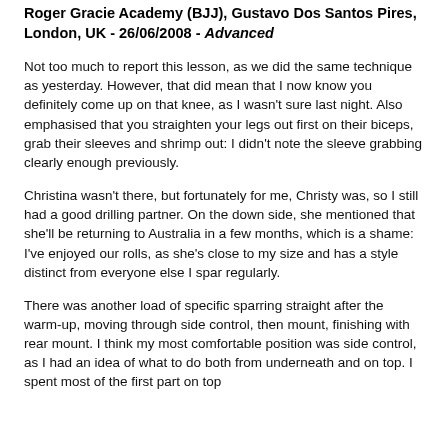Roger Gracie Academy (BJJ), Gustavo Dos Santos Pires, London, UK - 26/06/2008 - Advanced
Not too much to report this lesson, as we did the same technique as yesterday. However, that did mean that I now know you definitely come up on that knee, as I wasn't sure last night. Also emphasised that you straighten your legs out first on their biceps, grab their sleeves and shrimp out: I didn't note the sleeve grabbing clearly enough previously.
Christina wasn't there, but fortunately for me, Christy was, so I still had a good drilling partner. On the down side, she mentioned that she'll be returning to Australia in a few months, which is a shame: I've enjoyed our rolls, as she's close to my size and has a style distinct from everyone else I spar regularly.
There was another load of specific sparring straight after the warm-up, moving through side control, then mount, finishing with rear mount. I think my most comfortable position was side control, as I had an idea of what to do both from underneath and on top. I spent most of the first part on top and...